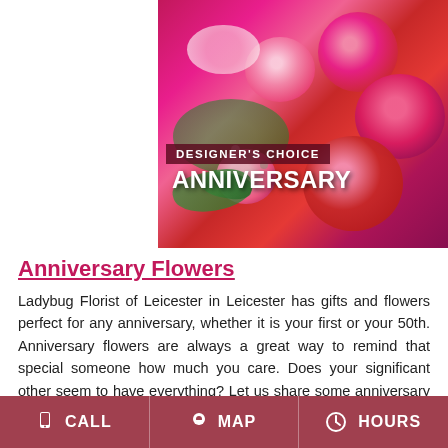[Figure (photo): Photo of pink/red roses and anniversary flowers bouquet with text overlay reading DESIGNER'S CHOICE ANNIVERSARY]
Anniversary Flowers
Ladybug Florist of Leicester in Leicester has gifts and flowers perfect for any anniversary, whether it is your first or your 50th. Anniversary flowers are always a great way to remind that special someone how much you care. Does your significant other seem to have everything? Let us share some anniversary gift ideas with you. Roses are a
CALL  MAP  HOURS